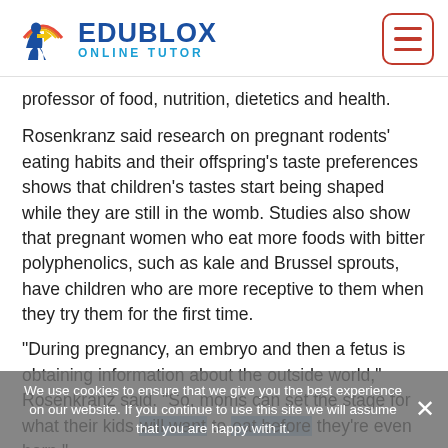Edublox Online Tutor
professor of food, nutrition, dietetics and health.
Rosenkranz said research on pregnant rodents' eating habits and their offspring's taste preferences shows that children's tastes start being shaped while they are still in the womb. Studies also show that pregnant women who eat more foods with bitter polyphenolics, such as kale and Brussel sprouts, have children who are more receptive to them when they try them for the first time.
“During pregnancy, an embryo and then a fetus is obtaining information about the outside world,” Rosenkranz said. “So, moms can set the stage for what their kids will want to eat before they’re even born.”
We use cookies to ensure that we give you the best experience on our website. If you continue to use this site we will assume that you are happy with it.